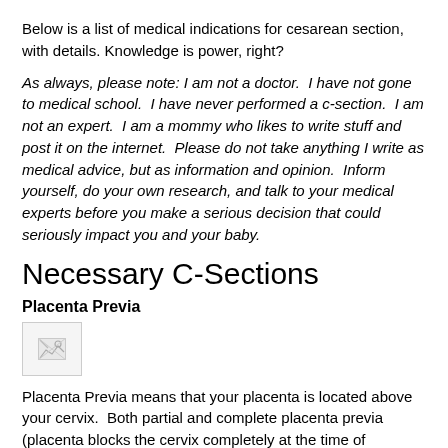Below is a list of medical indications for cesarean section, with details. Knowledge is power, right?
As always, please note: I am not a doctor. I have not gone to medical school. I have never performed a c-section. I am not an expert. I am a mommy who likes to write stuff and post it on the internet. Please do not take anything I write as medical advice, but as information and opinion. Inform yourself, do your own research, and talk to your medical experts before you make a serious decision that could seriously impact you and your baby.
Necessary C-Sections
Placenta Previa
[Figure (photo): Broken/missing image placeholder for Placenta Previa illustration]
Placenta Previa means that your placenta is located above your cervix. Both partial and complete placenta previa (placenta blocks the cervix completely at the time of delivery)